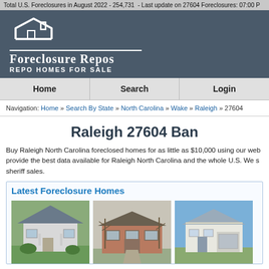Total U.S. Foreclosures in August 2022 - 254,731 - Last update on 27604 Foreclosures: 07:00 P
[Figure (logo): Foreclosure Repos logo with house icon, site name and tagline 'Repo Homes For Sale']
Home  Search  Login
Navigation: Home » Search By State » North Carolina » Wake » Raleigh » 27604
Raleigh 27604 Ban
Buy Raleigh North Carolina foreclosed homes for as little as $10,000 using our web provide the best data available for Raleigh North Carolina and the whole U.S. We s sheriff sales.
Latest Foreclosure Homes
[Figure (photo): Photo of a small white house with gray siding, shrubs in front, foreclosure listing]
[Figure (photo): Photo of a brick ranch-style house with bare trees in front, foreclosure listing]
[Figure (photo): Photo of a modern white house with blue sky, foreclosure listing, partially visible]